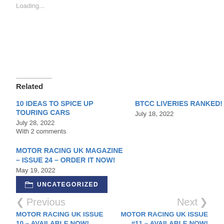Loading...
Related
10 IDEAS TO SPICE UP TOURING CARS
July 28, 2022
With 2 comments
BTCC LIVERIES RANKED!
July 18, 2022
MOTOR RACING UK MAGAZINE – ISSUE 24 – ORDER IT NOW!
May 19, 2022
UNCATEGORIZED
< Previous
MOTOR RACING UK ISSUE 10 – AVAILABLE NOW!   Next >
MOTOR RACING UK ISSUE #11 – AVAILABLE NOW!